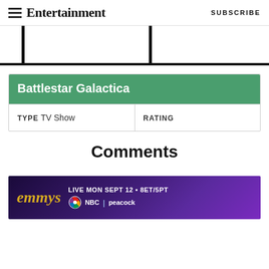Entertainment Weekly  SUBSCRIBE
[Figure (other): Partial image strip with vertical black bars, bottom border]
| Battlestar Galactica |
| --- |
| TYPE  TV Show | RATING |
Comments
[Figure (other): Emmys advertisement banner: emmys LIVE MON SEPT 12 • 8ET/5PT NBC | peacock]